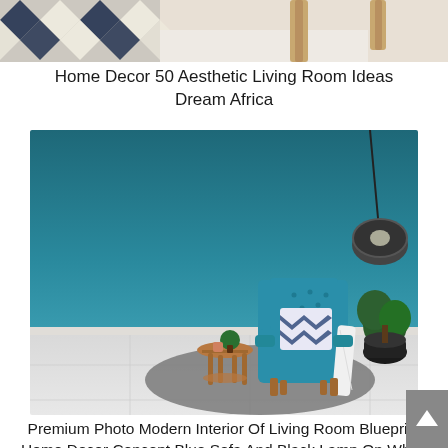[Figure (photo): Partial top view of a patterned rug or textile with geometric diamond shapes in dark navy/white, and what appears to be a light wooden furniture leg on a white surface]
Home Decor 50 Aesthetic Living Room Ideas Dream Africa
[Figure (photo): Premium photo of a modern interior living room with teal/blue accent wall, a teal wingback armchair with chevron throw pillow and white blanket, a round wooden side table with small plant, a large potted tree, a hanging black pendant lamp, and a round grey area rug on white tile flooring]
Premium Photo Modern Interior Of Living Room Blueprint Home Decor Concept Blue Sofa And Black Lamp On White Flooring Dark